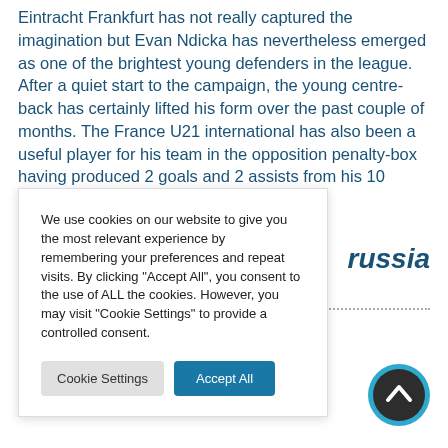Eintracht Frankfurt has not really captured the imagination but Evan Ndicka has nevertheless emerged as one of the brightest young defenders in the league. After a quiet start to the campaign, the young centre-back has certainly lifted his form over the past couple of months. The France U21 international has also been a useful player for his team in the opposition penalty-box having produced 2 goals and 2 assists from his 10 appearances this season.
We use cookies on our website to give you the most relevant experience by remembering your preferences and repeat visits. By clicking "Accept All", you consent to the use of ALL the cookies. However, you may visit "Cookie Settings" to provide a controlled consent.
russia